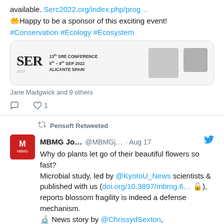available. Serc2022.org/index.php/prog…
🤲Happy to be a sponsor of this exciting event!
#Conservation #Ecology #Ecosystem
[Figure (screenshot): SER 2022 conference banner image showing SER logo and conference details: 13th SRE Conference, 5th-9th Sep 2022, Alicante Spain]
Jane Madgwick and 9 others
💬  ♡ 1
Pensoft Retweeted
MBMG Jo... @MBMGj... · Aug 17
Why do plants let go of their beautiful flowers so fast?
Microbial study, led by @KyotoU_News scientists & published with us (doi.org/10.3897/mbmg.6… 🔓), reports blossom fragility is indeed a defense mechanism.
🔬 News story by @ChrissydSexton, @EarthDotCom